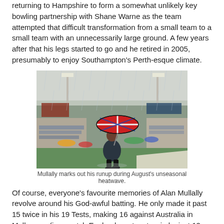returning to Hampshire to form a somewhat unlikely key bowling partnership with Shane Warne as the team attempted that difficult transformation from a small team to a small team with an unnecessarily large ground. A few years after that his legs started to go and he retired in 2005, presumably to enjoy Southampton's Perth-esque climate.
[Figure (photo): A person standing on a cricket ground in heavy rain, holding a Union Jack umbrella. The stadium seating and floodlights are visible in the background, with the wet outfield visible.]
Mullally marks out his runup during August's unseasonal heatwave.
Of course, everyone's favourite memories of Alan Mullally revolve around his God-awful batting. He only made it past 15 twice in his 19 Tests, making 16 against Australia in Melbourne (in a match England went on to win by just 12 runs) and, most famously, 24 against Pakistan in 1997. The latter is best known for the (possibly apocryphal) story of David Lloyd offering Mullally 30